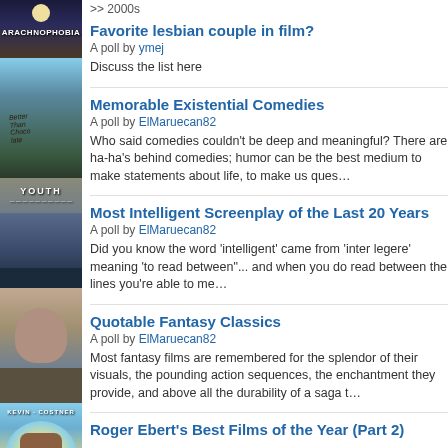>> 2000s
Favorite lesbian couple in film?
A poll by ymej
Discuss the list here
Memorable Existential Comedies
A poll by ElMaruecan82
Who said comedies couldn't be deep and meaningful? There are ha-ha's behind comedies; humor can be the best medium to make statements about life, to make us ques…
Most Intelligent Screenplay of the Last 20 Years
A poll by ElMaruecan82
Did you know the word 'intelligent' came from 'inter legere' meaning 'to read between'... and when you do read between the lines of a movie you're able to me…
Quotable Fantasy Classics
A poll by ElMaruecan82
Most fantasy films are remembered for the splendor of their visuals, the pounding action sequences, the enchantment they provide, and above all the durability of a saga t…
Roger Ebert's Best Films of the Year (Part 2)
[Figure (photo): Movie poster collage on left side: Arachnophobia, Better Than Chocolate, Youth, man portrait, Kevin Costner film]